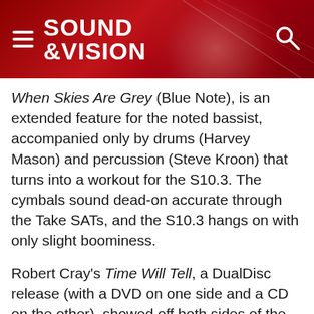SOUND &VISION
When Skies Are Grey (Blue Note), is an extended feature for the noted bassist, accompanied only by drums (Harvey Mason) and percussion (Steve Kroon) that turns into a workout for the S10.3. The cymbals sound dead-on accurate through the Take SATs, and the S10.3 hangs on with only slight boominess.
Robert Cray's Time Will Tell, a DualDisc release (with a DVD on one side and a CD on the other), showed off both sides of the Take system. I watched a concert video of Cray's "Back Door Slam" in Dolby Digital 5.1 on the DVD side then flipped it over for a much more lively and dynamic studio version on the CD side.